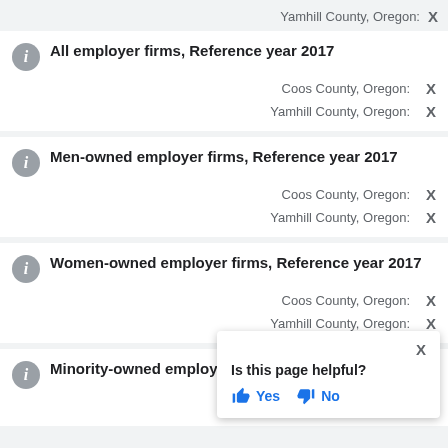Yamhill County, Oregon: X
All employer firms, Reference year 2017
Coos County, Oregon: X
Yamhill County, Oregon: X
Men-owned employer firms, Reference year 2017
Coos County, Oregon: X
Yamhill County, Oregon: X
Women-owned employer firms, Reference year 2017
Coos County, Oregon: X
Yamhill County, Oregon: X
Minority-owned employer firms, Reference year 2017
Coos County, Oregon: X
Is this page helpful? Yes No